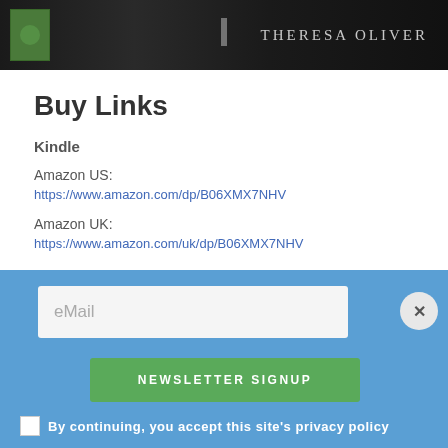[Figure (photo): Dark book cover with small green book icon on left and 'THERESA OLIVER' author name in light text on dark background. Small figure in center.]
Buy Links
Kindle
Amazon US:
https://www.amazon.com/dp/B06XMX7NHV
Amazon UK:
https://www.amazon.com/uk/dp/B06XMX7NHV
eMail
NEWSLETTER SIGNUP
By continuing, you accept this site's privacy policy